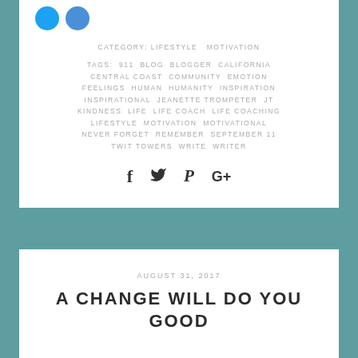[Figure (illustration): Two overlapping blue circles representing social media icons (Twitter and Facebook)]
CATEGORY: LIFESTYLE  MOTIVATION
TAGS: 911  BLOG  BLOGGER  CALIFORNIA  CENTRAL COAST  COMMUNITY  EMOTION  FEELINGS  HUMAN  HUMANITY  INSPIRATION  INSPIRATIONAL  JEANETTE TROMPETER  JT  KINDNESS  LIFE  LIFE COACH  LIFE COACHING  LIFESTYLE  MOTIVATION  MOTIVATIONAL  NEVER FORGET  REMEMBER  SEPTEMBER 11  TWIT TOWERS  WRITE  WRITER
[Figure (illustration): Social sharing icons: Facebook (f), Twitter (bird), Pinterest (P), Google+ (G+)]
AUGUST 31, 2017
A CHANGE WILL DO YOU GOOD